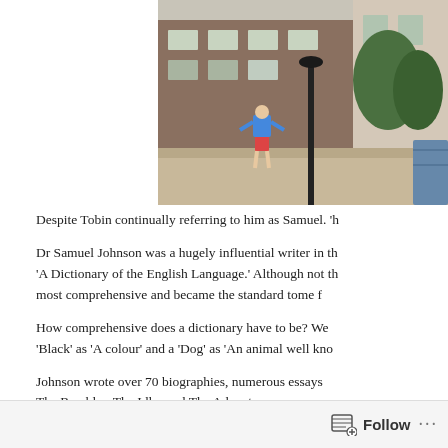[Figure (photo): Outdoor photo of a person in a blue shirt and red shorts standing on a pavement with a lamppost and brick building in the background, London street scene.]
Despite Tobin continually referring to him as Samuel. 'h
Dr Samuel Johnson was a hugely influential writer in th 'A Dictionary of the English Language.' Although not th most comprehensive and became the standard tome f
How comprehensive does a dictionary have to be? We 'Black' as 'A colour' and a 'Dog' as 'An animal well kno
Johnson wrote over 70 biographies, numerous essays The Rambler, The Idler and The Adventurer.
Follow ...